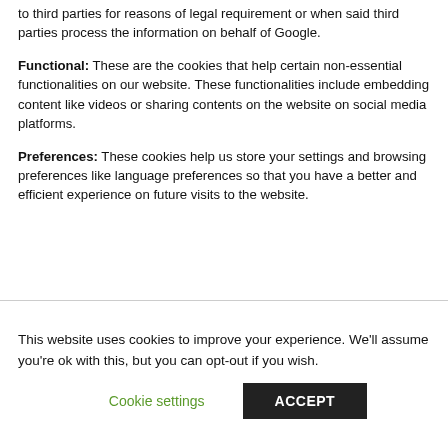to third parties for reasons of legal requirement or when said third parties process the information on behalf of Google.
Functional: These are the cookies that help certain non-essential functionalities on our website. These functionalities include embedding content like videos or sharing contents on the website on social media platforms.
Preferences: These cookies help us store your settings and browsing preferences like language preferences so that you have a better and efficient experience on future visits to the website.
This website uses cookies to improve your experience. We'll assume you're ok with this, but you can opt-out if you wish.